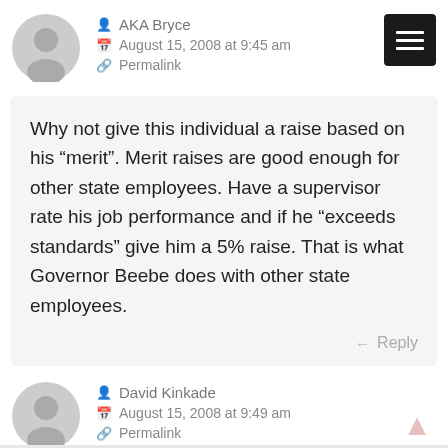AKA Bryce
August 15, 2008 at 9:45 am
Permalink
Why not give this individual a raise based on his “merit”. Merit raises are good enough for other state employees. Have a supervisor rate his job performance and if he “exceeds standards” give him a 5% raise. That is what Governor Beebe does with other state employees.
Reply
David Kinkade
August 15, 2008 at 9:49 am
Permalink